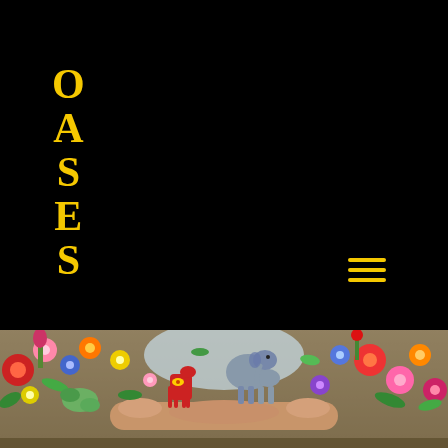OASES
Jenny Goring
[Figure (illustration): Colorful artwork showing hands holding a garden scene with flowers, plants, and a small elephant and decorative horse figurine, set against a textured background. Vibrant mixed-media collage with many colorful flowers including red, pink, blue, yellow, and green blooms filling the entire band.]